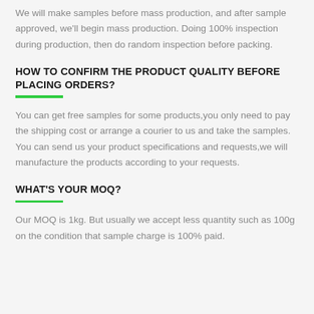We will make samples before mass production, and after sample approved, we'll begin mass production. Doing 100% inspection during production, then do random inspection before packing.
HOW TO CONFIRM THE PRODUCT QUALITY BEFORE PLACING ORDERS?
You can get free samples for some products,you only need to pay the shipping cost or arrange a courier to us and take the samples. You can send us your product specifications and requests,we will manufacture the products according to your requests.
WHAT'S YOUR MOQ?
Our MOQ is 1kg. But usually we accept less quantity such as 100g on the condition that sample charge is 100% paid.